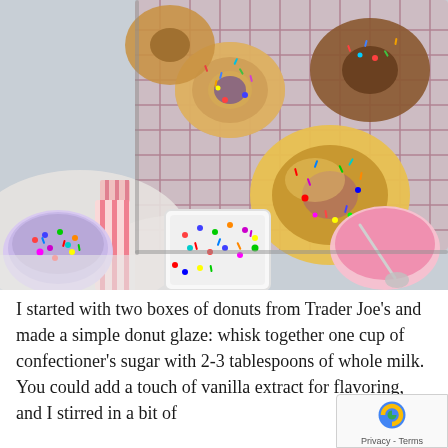[Figure (photo): Overhead photo of glazed donuts with colorful sprinkles on a wire cooling rack, with bowls of sprinkles and a cup of pink glaze nearby on a white surface.]
I started with two boxes of donuts from Trader Joe's and made a simple donut glaze: whisk together one cup of confectioner's sugar with 2-3 tablespoons of whole milk. You could add a touch of vanilla extract for flavoring, and I stirred in a bit of